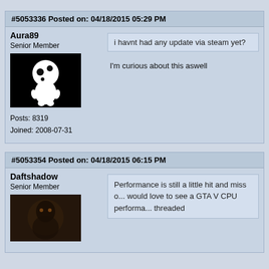#5053336 Posted on: 04/18/2015 05:29 PM
Aura89
Senior Member
Posts: 8319
Joined: 2008-07-31
i havnt had any update via steam yet?
I'm curious about this aswell
#5053354 Posted on: 04/18/2015 06:15 PM
Daftshadow
Senior Member
Performance is still a little hit and miss o... would love to see a GTA V CPU performa... threaded